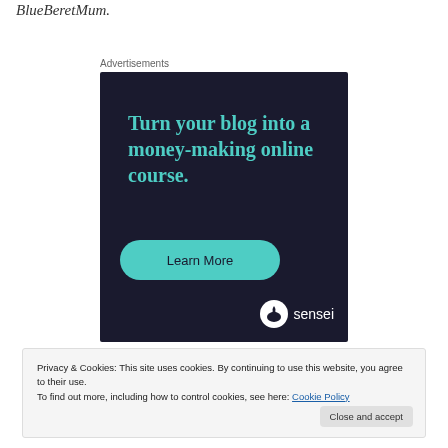BlueBeretMum.
Advertisements
[Figure (infographic): Dark navy advertisement banner for Sensei with teal headline text reading 'Turn your blog into a money-making online course.' and a teal 'Learn More' button with the Sensei logo at the bottom right.]
Privacy & Cookies: This site uses cookies. By continuing to use this website, you agree to their use.
To find out more, including how to control cookies, see here: Cookie Policy
Close and accept